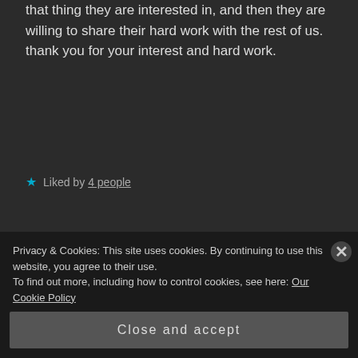that thing they are interested in, and then they are willing to share their hard work with the rest of us. thank you for your interest and hard work.
★ Liked by 4 people
ALTYNBEKOVA says: April 16, 2018 at 6:40 am
Good, it's beauty. Good afternoon friends
Privacy & Cookies: This site uses cookies. By continuing to use this website, you agree to their use.
To find out more, including how to control cookies, see here: Our Cookie Policy
Close and accept